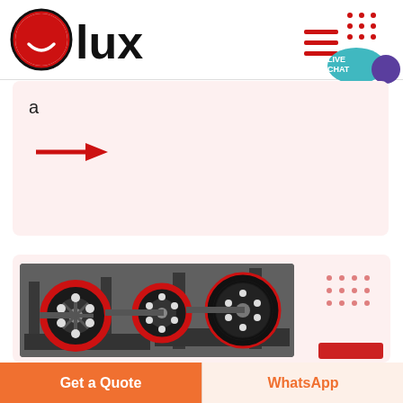[Figure (logo): Olux logo with red circle smiley face icon and bold black 'lux' text]
[Figure (infographic): Navigation hamburger menu icon (three red horizontal lines) and dot grid pattern, plus LIVE CHAT speech bubble in teal]
a
[Figure (infographic): Red right-pointing arrow on light pink background]
[Figure (photo): Industrial machinery with large red and black flywheels/pulleys on a metal frame, jaw crusher equipment]
Get a Quote
WhatsApp